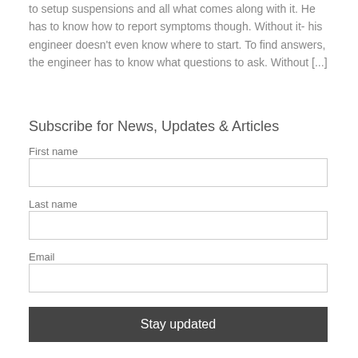to setup suspensions and all what comes along with it. He has to know how to report symptoms though. Without it- his engineer doesn't even know where to start. To find answers, the engineer has to know what questions to ask. Without [...]
Subscribe for News, Updates & Articles
First name
Last name
Email
Stay updated